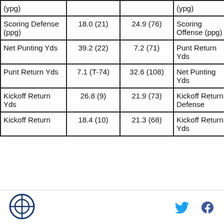| (ypg) |  |  | (ypg) |  |
| Scoring Defense (ppg) | 18.0 (21) | 24.9 (76) | Scoring Offense (ppg) | 🏈🏈 |
| Net Punting Yds | 39.2 (22) | 7.2 (71) | Punt Return Yds | 🏈 |
| Punt Return Yds | 7.1 (T-74) | 32.6 (108) | Net Punting Yds | 🏈 |
| Kickoff Return Yds | 26.8 (9) | 21.9 (73) | Kickoff Return Defense | 🏈🏈 |
| Kickoff Return | 18.4 (10) | 21.3 (68) | Kickoff Return Yds | 🏈🏈 |